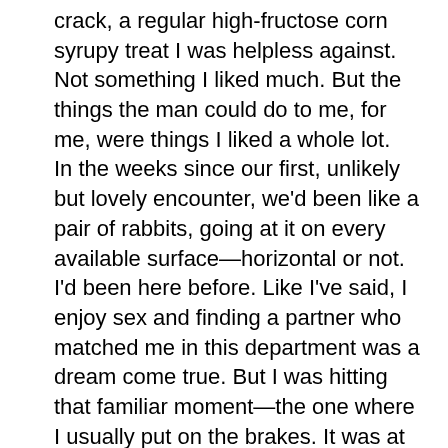crack, a regular high-fructose corn syrupy treat I was helpless against. Not something I liked much. But the things the man could do to me, for me, were things I liked a whole lot.
In the weeks since our first, unlikely but lovely encounter, we'd been like a pair of rabbits, going at it on every available surface—horizontal or not.
I'd been here before. Like I've said, I enjoy sex and finding a partner who matched me in this department was a dream come true. But I was hitting that familiar moment—the one where I usually put on the brakes. It was at this point where most of the guys I'd fuck around with this kind of intensity would go emo on me, which would force me to cut them, and myself, off from the playtime.
No connections. No emotions. I didn't have a spare molecule of energy or desire for any of that.
"Dr. Zane," Ian said, the intimacy of the fact that